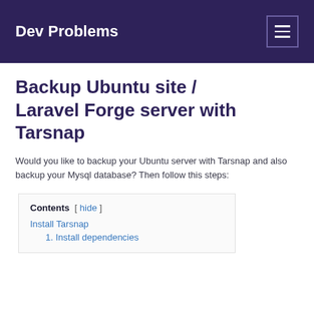Dev Problems
Backup Ubuntu site / Laravel Forge server with Tarsnap
Would you like to backup your Ubuntu server with Tarsnap and also backup your Mysql database? Then follow this steps:
Contents [ hide ]
Install Tarsnap
1. Install dependencies